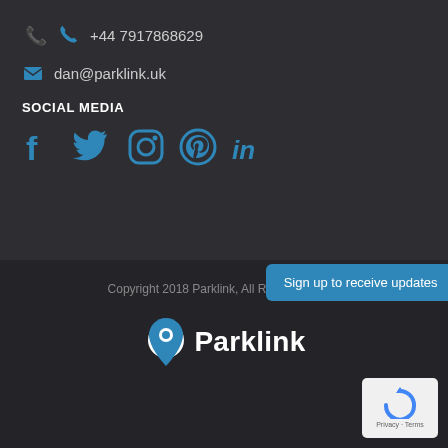+44 7917868629
dan@parklink.uk
SOCIAL MEDIA
[Figure (illustration): Social media icons: Facebook, Twitter, Instagram, Pinterest, LinkedIn in blue]
Copyright 2018 Parklink, All Right Reserved
[Figure (logo): Parklink logo with map pin icon and brand name]
Sign up to receive updates
[Figure (illustration): Google reCAPTCHA badge with Privacy and Terms links]